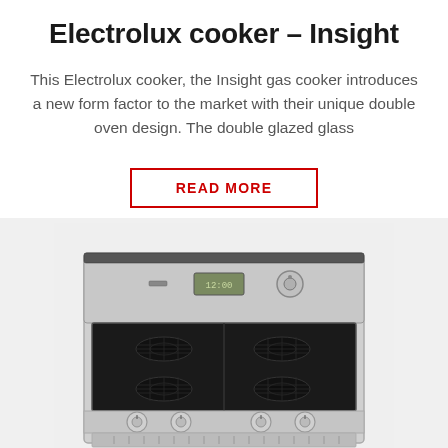Electrolux cooker – Insight
This Electrolux cooker, the Insight gas cooker introduces a new form factor to the market with their unique double oven design. The double glazed glass
READ MORE
[Figure (photo): Front top-down view of an Electrolux Insight gas cooker showing stainless steel body, black glass cooktop with four gas burners, control panel with display and knobs at the back, and four burner control knobs at the front.]